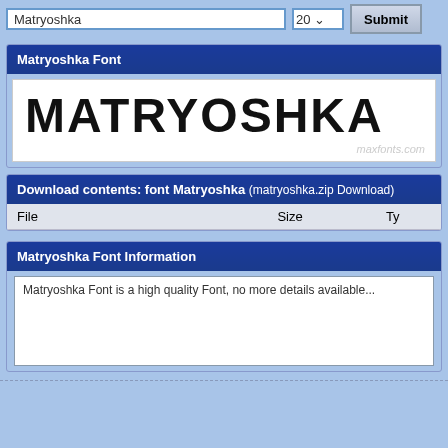Matryoshka Font
[Figure (screenshot): Font preview image showing 'MATRYOSHKA' in large decorative font with watermark 'maxfonts.com']
Download contents: font Matryoshka (matryoshka.zip Download)
| File | Size | Ty |
| --- | --- | --- |
Matryoshka Font Information
Matryoshka Font is a high quality Font, no more details available...